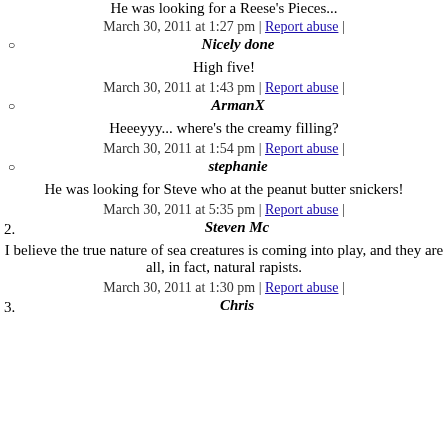He was looking for a Reese's Pieces...
March 30, 2011 at 1:27 pm | Report abuse |
Nicely done
High five!
March 30, 2011 at 1:43 pm | Report abuse |
ArmanX
Heeeyyy... where's the creamy filling?
March 30, 2011 at 1:54 pm | Report abuse |
stephanie
He was looking for Steve who at the peanut butter snickers!
March 30, 2011 at 5:35 pm | Report abuse |
Steven Mc
I believe the true nature of sea creatures is coming into play, and they are all, in fact, natural rapists.
March 30, 2011 at 1:30 pm | Report abuse |
Chris